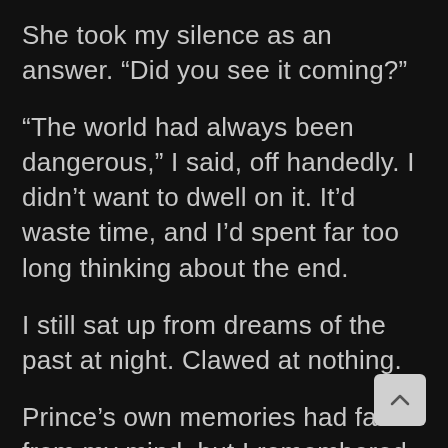She took my silence as an answer. “Did you see it coming?”
“The world had always been dangerous,” I said, off handedly. I didn’t want to dwell on it. It’d waste time, and I’d spent far too long thinking about the end.
I still sat up from dreams of the past at night. Clawed at nothing.
Prince’s own memories had faded from my mind, but I remembered the taste of raw desperation. Prayers to anyone who was listening.